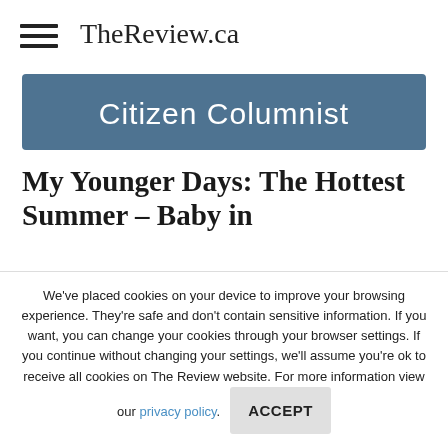TheReview.ca
[Figure (illustration): Citizen Columnist banner — dark teal/slate blue background with white handwritten-style cursive text reading 'Citizen Columnist']
My Younger Days: The Hottest Summer – Baby in
We've placed cookies on your device to improve your browsing experience. They're safe and don't contain sensitive information. If you want, you can change your cookies through your browser settings. If you continue without changing your settings, we'll assume you're ok to receive all cookies on The Review website. For more information view our privacy policy.